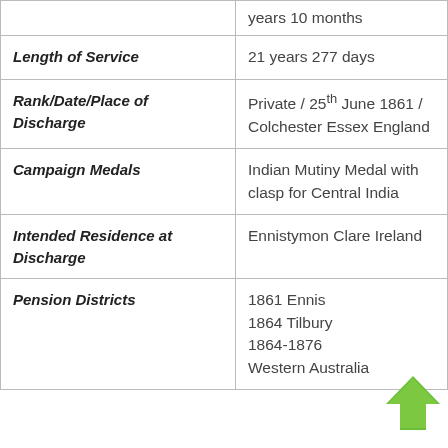| Field | Value |
| --- | --- |
|  | years 10 months |
| Length of Service | 21 years 277 days |
| Rank/Date/Place of Discharge | Private / 25th June 1861 / Colchester Essex England |
| Campaign Medals | Indian Mutiny Medal with clasp for Central India |
| Intended Residence at Discharge | Ennistymon Clare Ireland |
| Pension Districts | 1861 Ennis
1864 Tilbury
1864-1876
Western Australia |